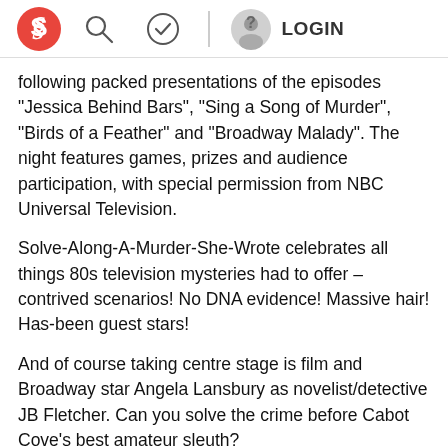S [logo] [search icon] [check icon] | [user icon] LOGIN
following packed presentations of the episodes "Jessica Behind Bars", "Sing a Song of Murder", "Birds of a Feather" and "Broadway Malady". The night features games, prizes and audience participation, with special permission from NBC Universal Television.
Solve-Along-A-Murder-She-Wrote celebrates all things 80s television mysteries had to offer – contrived scenarios! No DNA evidence! Massive hair! Has-been guest stars!
And of course taking centre stage is film and Broadway star Angela Lansbury as novelist/detective JB Fletcher. Can you solve the crime before Cabot Cove's best amateur sleuth?
Solve-Along-A-Murder-She-Wrote features:
* A race to solve to the crime, via the Fameoometer and